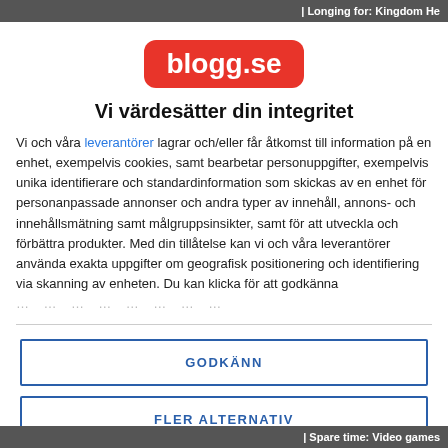Longing for: Kingdom He
[Figure (logo): blogg.se logo — white text on red rounded rectangle]
Vi värdesätter din integritet
Vi och våra leverantörer lagrar och/eller får åtkomst till information på en enhet, exempelvis cookies, samt bearbetar personuppgifter, exempelvis unika identifierare och standardinformation som skickas av en enhet för personanpassade annonser och andra typer av innehåll, annons- och innehållsmätning samt målgruppsinsikter, samt för att utveckla och förbättra produkter. Med din tillåtelse kan vi och våra leverantörer använda exakta uppgifter om geografisk positionering och identifiering via skanning av enheten. Du kan klicka för att godkänna …
GODKÄNN
FLER ALTERNATIV
Spare time: Video games